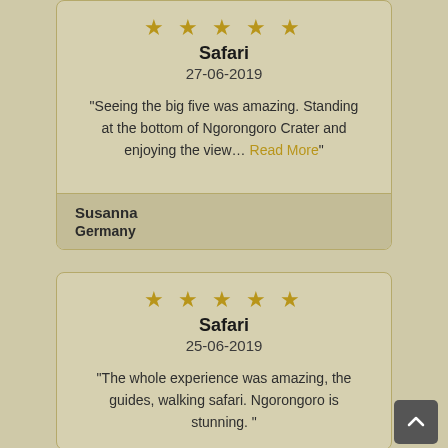★★★★★
Safari
27-06-2019
"Seeing the big five was amazing. Standing at the bottom of Ngorongoro Crater and enjoying the view… Read More"
Susanna
Germany
★★★★★
Safari
25-06-2019
"The whole experience was amazing, the guides, walking safari. Ngorongoro is stunning. "